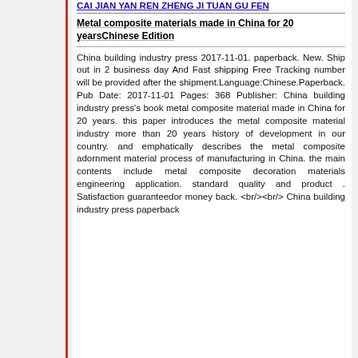CAI JIAN YAN REN ZHENG JI TUAN GU FEN
Metal composite materials made in China for 20 yearsChinese Edition
China building industry press 2017-11-01. paperback. New. Ship out in 2 business day And Fast shipping Free Tracking number will be provided after the shipment.Language:Chinese.Paperback. Pub Date: 2017-11-01 Pages: 368 Publisher: China building industry press's book metal composite material made in China for 20 years. this paper introduces the metal composite material industry more than 20 years history of development in our country. and emphatically describes the metal composite adornment material process of manufacturing in China. the main contents include metal composite decoration materials engineering application. standard quality and product . Satisfaction guaranteedor money back. <br/><br/> China building industry press paperback